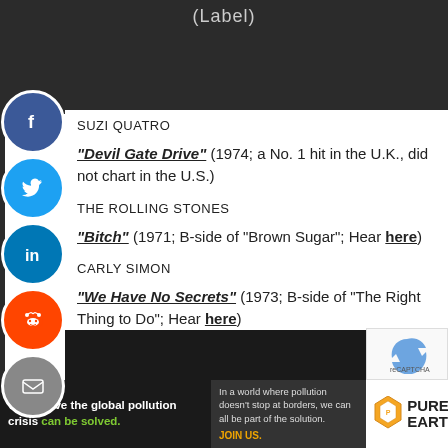(Label)
SUZI QUATRO
“Devil Gate Drive” (1974; a No. 1 hit in the U.K., did not chart in the U.S.)
THE ROLLING STONES
“Bitch” (1971; B-side of “Brown Sugar”; Hear here)
CARLY SIMON
“We Have No Secrets” (1973; B-side of “The Right Thing to Do”; Hear here)
[Figure (photo): Dark photo strip at bottom of page]
We believe the global pollution crisis can be solved. In a world where pollution doesn’t stop at borders, we can all be part of the solution. JOIN US. PURE EARTH